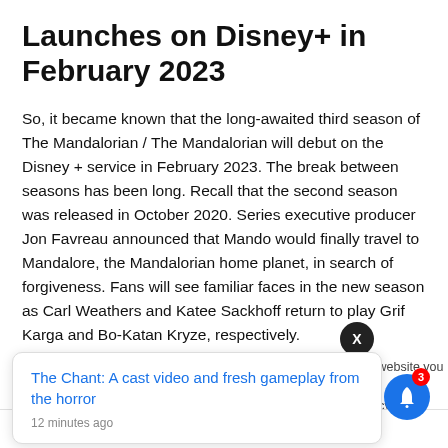Launches on Disney+ in February 2023
So, it became known that the long-awaited third season of The Mandalorian / The Mandalorian will debut on the Disney + service in February 2023. The break between seasons has been long. Recall that the second season was released in October 2020. Series executive producer Jon Favreau announced that Mando would finally travel to Mandalore, the Mandalorian home planet, in search of forgiveness. Fans will see familiar faces in the new season as Carl Weathers and Katee Sackhoff return to play Grif Karga and Bo-Katan Kryze, respectively.
The Chant: A cast video and fresh gameplay from the horror
12 minutes ago
his website you are
rivacy and
Policy.
I Agree